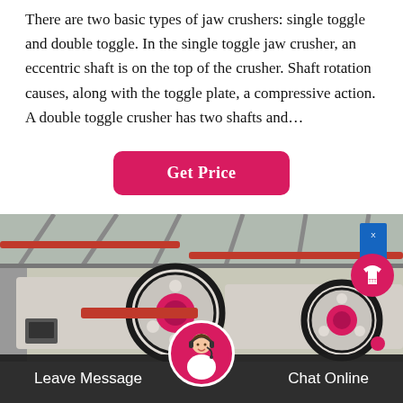There are two basic types of jaw crushers: single toggle and double toggle. In the single toggle jaw crusher, an eccentric shaft is on the top of the crusher. Shaft rotation causes, along with the toggle plate, a compressive action. A double toggle crusher has two shafts and…
Get Price
[Figure (photo): Industrial jaw crusher machine with large flywheel discs, red and black coloring, inside a factory building]
Leave Message
Chat Online